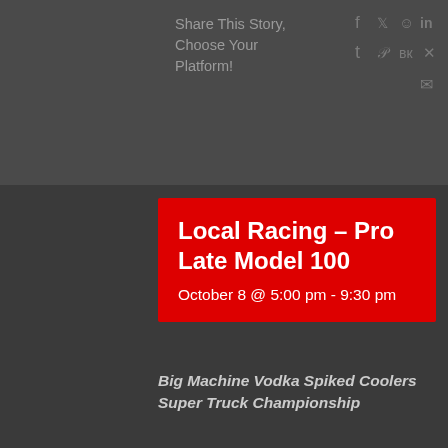Share This Story, Choose Your Platform!
Local Racing – Pro Late Model 100
October 8 @ 5:00 pm - 9:30 pm
Big Machine Vodka Spiked Coolers Super Truck Championship
Pro Late Models (100), Super Trucks, Limited Late Models, Street Stocks, Pure Stocks, Front Runners, Legends, Bandoleros
n/a
Open Practice, Friday, October 7th, 3:00-7:00pm CT